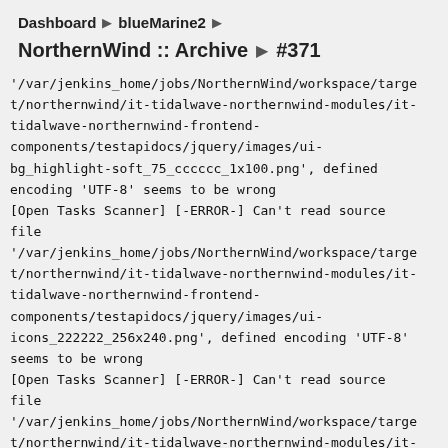Dashboard ▶ blueMarine2 ▶
NorthernWind :: Archive ▶ #371
'/var/jenkins_home/jobs/NorthernWind/workspace/target/northernwind/it-tidalwave-northernwind-modules/it-tidalwave-northernwind-frontend-components/testapidocs/jquery/images/ui-bg_highlight-soft_75_cccccc_1x100.png', defined encoding 'UTF-8' seems to be wrong
[Open Tasks Scanner] [-ERROR-] Can't read source file
'/var/jenkins_home/jobs/NorthernWind/workspace/target/northernwind/it-tidalwave-northernwind-modules/it-tidalwave-northernwind-frontend-components/testapidocs/jquery/images/ui-icons_222222_256x240.png', defined encoding 'UTF-8' seems to be wrong
[Open Tasks Scanner] [-ERROR-] Can't read source file
'/var/jenkins_home/jobs/NorthernWind/workspace/target/northernwind/it-tidalwave-northernwind-modules/it-tidalwave-northernwind-frontend-